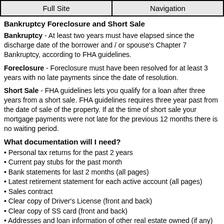Full Site | Navigation
Bankruptcy Foreclosure and Short Sale
Bankruptcy - At least two years must have elapsed since the discharge date of the borrower and / or spouse's Chapter 7 Bankruptcy, according to FHA guidelines.
Foreclosure - Foreclosure must have been resolved for at least 3 years with no late payments since the date of resolution.
Short Sale - FHA guidelines lets you qualify for a loan after three years from a short sale. FHA guidelines requires three year past from the date of sale of the property. If at the time of short sale your mortgage payments were not late for the previous 12 months there is no waiting period.
What documentation will I need?
Personal tax returns for the past 2 years
Current pay stubs for the past month
Bank statements for last 2 months (all pages)
Latest retirement statement for each active account (all pages)
Sales contract
Clear copy of Driver's License (front and back)
Clear copy of SS card (front and back)
Addresses and loan information of other real estate owned (if any)
FHA Mortgage Requirements 2017 Credit Score Florida, FHA Mortgage